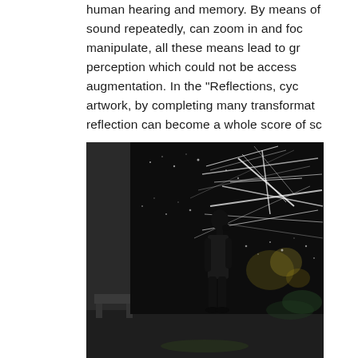human hearing and memory. By means of sound repeatedly, can zoom in and focus manipulate, all these means lead to greater perception which could not be accessed augmentation. In the "Reflections, cyc artwork, by completing many transformations reflection can become a whole score of so
[Figure (photo): A person stands in silhouette in a dark gallery space, facing a large projected artwork on the wall featuring dynamic white light streaks and colorful particles scattered across a dark background, evoking a cosmic or energetic visual display.]